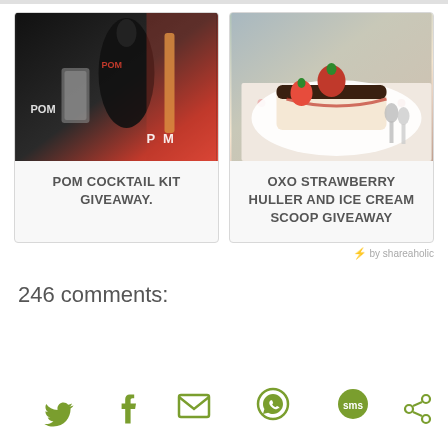[Figure (photo): POM cocktail kit product photo showing POM branded items, cocktail shaker, glass, and bar tools with red background]
POM COCKTAIL KIT GIVEAWAY.
[Figure (photo): Strawberry dessert (cheesecake or similar) on decorative plate with fresh strawberries and spoons on floral cloth]
OXO STRAWBERRY HULLER AND ICE CREAM SCOOP GIVEAWAY
by shareaholic
246 comments:
[Figure (infographic): Social sharing icons row: Twitter bird, Facebook f, email envelope, WhatsApp, SMS speech bubble, and another sharing icon — all in olive/green color]